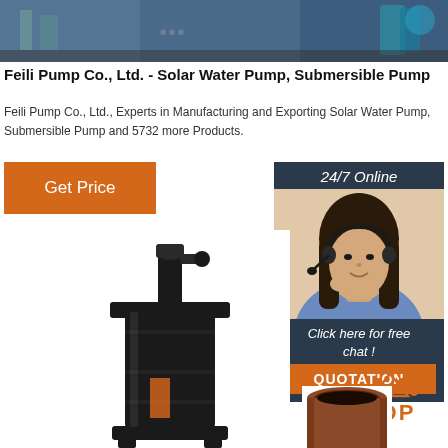[Figure (photo): Industrial pump manufacturing facility background photo banner]
Feili Pump Co., Ltd. - Solar Water Pump, Submersible Pump
Feili Pump Co., Ltd., Experts in Manufacturing and Exporting Solar Water Pump, Submersible Pump and 5732 more Products.
[Figure (photo): Orange 'Get Price' button]
[Figure (photo): 24/7 Online chat panel with female operator wearing headset, 'Click here for free chat!' text, and orange QUOTATION button]
[Figure (photo): Black submersible pump product photo]
[Figure (logo): TOP arrow logo in orange with dots]
[Figure (photo): Bottom portion of submersible pump pipe/coupling component]